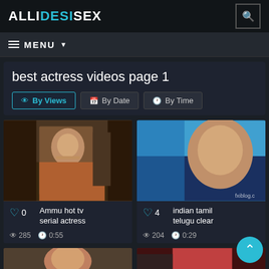ALLDESISEX
best actress videos page 1
By Views | By Date | By Time
[Figure (photo): Video thumbnail showing woman in saree]
0  Ammu hot tv serial actress  285  0:55
[Figure (photo): Video thumbnail showing close-up of woman with blue background]
4  indian tamil telugu clear  204  0:29
[Figure (photo): Partial thumbnail at bottom left]
[Figure (photo): Partial thumbnail at bottom right]